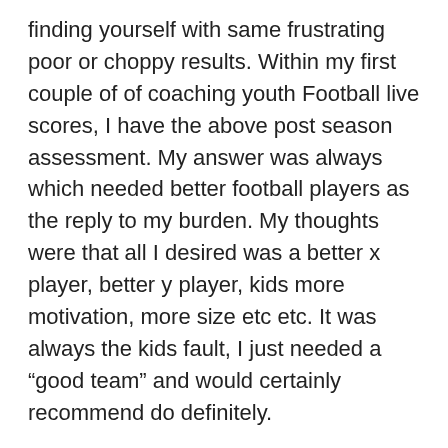finding yourself with same frustrating poor or choppy results. Within my first couple of of coaching youth Football live scores, I have the above post season assessment. My answer was always which needed better football players as the reply to my burden. My thoughts were that all I desired was a better x player, better y player, kids more motivation, more size etc etc. It was always the kids fault, I just needed a “good team” and would certainly recommend do definitely.
The questions cover world championships, European championships, players, team, coaches, B series, and can help you a lot if you will intend seem in a football TV quiz with enhanced chances to get hold of.
But here’s the thing: do you think perhaps